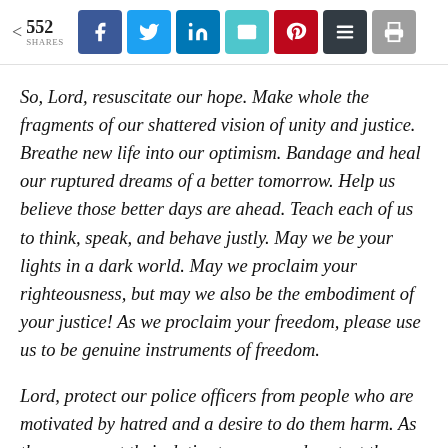552 SHARES [social share buttons: Facebook, Twitter, LinkedIn, Email, Pinterest, Buffer, Print]
So, Lord, resuscitate our hope. Make whole the fragments of our shattered vision of unity and justice. Breathe new life into our optimism. Bandage and heal our ruptured dreams of a better tomorrow. Help us believe those better days are ahead. Teach each of us to think, speak, and behave justly. May we be your lights in a dark world. May we proclaim your righteousness, but may we also be the embodiment of your justice! As we proclaim your freedom, please use us to be genuine instruments of freedom.
Lord, protect our police officers from people who are motivated by hatred and a desire to do them harm. As they carry out their duties to serve and protect the